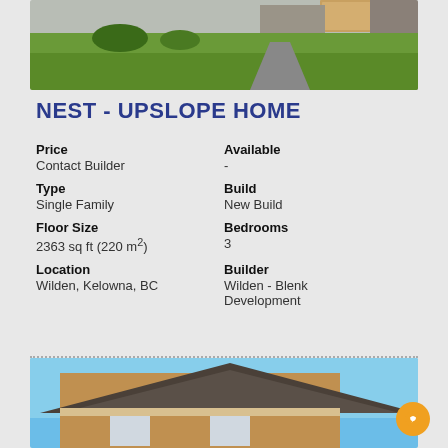[Figure (photo): Exterior photo of a house with green lawn and stone/garage facade]
NEST - UPSLOPE HOME
| Price | Available |
| Contact Builder | - |
| Type | Build |
| Single Family | New Build |
| Floor Size | Bedrooms |
| 2363 sq ft (220 m²) | 3 |
| Location | Builder |
| Wilden, Kelowna, BC | Wilden - Blenk Development |
[Figure (photo): Photo of house roofline against blue sky]